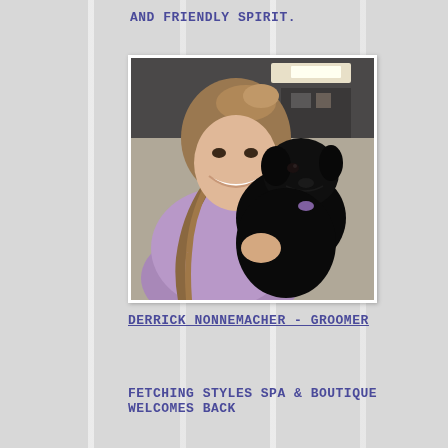and friendly spirit.
[Figure (photo): A smiling young woman with a braided ponytail wearing a lavender top, holding a small fluffy black puppy. The photo is taken indoors with overhead lighting visible in the background.]
Derrick Nonnemacher - Groomer
Fetching Styles Spa & Boutique welcomes back